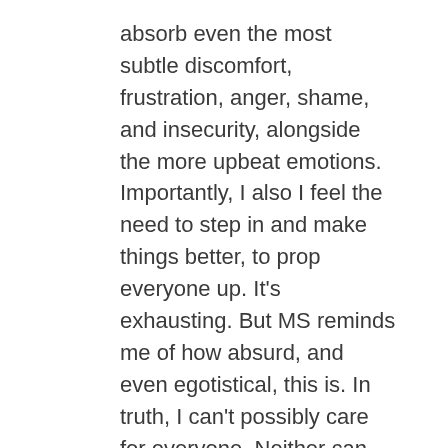absorb even the most subtle discomfort, frustration, anger, shame, and insecurity, alongside the more upbeat emotions. Importantly, I also I feel the need to step in and make things better, to prop everyone up. It's exhausting. But MS reminds me of how absurd, and even egotistical, this is. In truth, I can't possibly care for everyone. Neither can you.
It helps to check our automatic thoughts. More than once on Thanksgiving Day, as the busy kitchen buzzed with activity and conversation, I intentionally stepped back and watched, reminding myself that I didn't have to hold the whole thing up. Even though I inevitably slipped back into hyper-responsibility mode, these